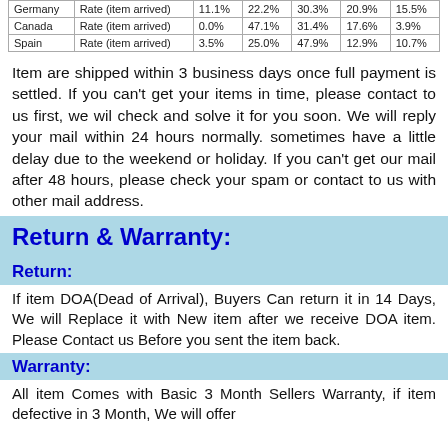|  |  |  |  |  |  |  |
| --- | --- | --- | --- | --- | --- | --- |
| Germany | Rate (item arrived) | 11.1% | 22.2% | 30.3% | 20.9% | 15.5% |
| Canada | Rate (item arrived) | 0.0% | 47.1% | 31.4% | 17.6% | 3.9% |
| Spain | Rate (item arrived) | 3.5% | 25.0% | 47.9% | 12.9% | 10.7% |
Item are shipped within 3 business days once full payment is settled. If you can't get your items in time, please contact to us first, we wil check and solve it for you soon. We will reply your mail within 24 hours normally. sometimes have a little delay due to the weekend or holiday. If you can't get our mail after 48 hours, please check your spam or contact to us with other mail address.
Return & Warranty:
Return:
If item DOA(Dead of Arrival), Buyers Can return it in 14 Days, We will Replace it with New item after we receive DOA item. Please Contact us Before you sent the item back.
Warranty:
All item Comes with Basic 3 Month Sellers Warranty, if item defective in 3 Month, We will offer